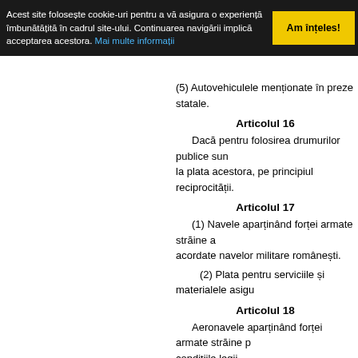Acest site folosește cookie-uri pentru a vă asigura o experiență îmbunătățită în cadrul site-ului. Continuarea navigării implică acceptarea acestora. Mai multe informații | Am înțeles!
(5) Autovehiculele menționate în prezent... statale.
Articolul 16
Dacă pentru folosirea drumurilor publice sun... la plata acestora, pe principiul reciprocității.
Articolul 17
(1) Navele aparținând forței armate străine a... acordate navelor militare românești.
(2) Plata pentru serviciile și materialele asigu...
Articolul 18
Aeronavele aparținând forței armate străine p... condițiile legii.
Articolul 19
Aeronavele forței armate străine pot folosi în...
Articolul 20
(1) Pentru circulația cu autovehicule de servi... este facultativă.
(2) În cazul producerii unor daune, solicitarea... 10-a din prezentul capitol.